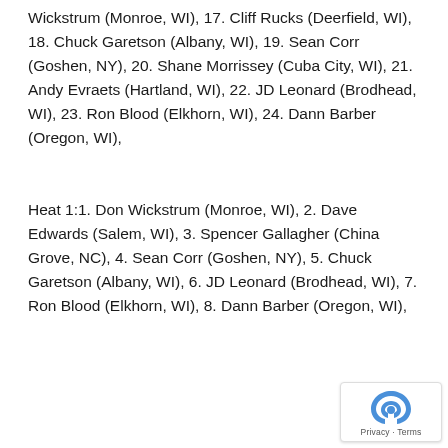Wickstrum (Monroe, WI), 17. Cliff Rucks (Deerfield, WI), 18. Chuck Garetson (Albany, WI), 19. Sean Corr (Goshen, NY), 20. Shane Morrissey (Cuba City, WI), 21. Andy Evraets (Hartland, WI), 22. JD Leonard (Brodhead, WI), 23. Ron Blood (Elkhorn, WI), 24. Dann Barber (Oregon, WI),
Heat 1:1. Don Wickstrum (Monroe, WI), 2. Dave Edwards (Salem, WI), 3. Spencer Gallagher (China Grove, NC), 4. Sean Corr (Goshen, NY), 5. Chuck Garetson (Albany, WI), 6. JD Leonard (Brodhead, WI), 7. Ron Blood (Elkhorn, WI), 8. Dann Barber (Oregon, WI),